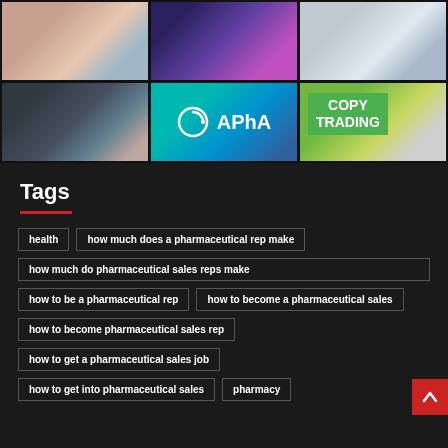[Figure (photo): Grid of 6 photos: nurse with mask, colorful pills/capsules, lab workers in white coats, pharmacy team group photo, APhA logo on teal/dark blue background, copy trading advertisement with men in suits]
Tags
health
how much does a pharmaceutical rep make
how much do pharmaceutical sales reps make
how to be a pharmaceutical rep
how to become a pharmaceutical sales
how to become pharmaceutical sales rep
how to get a pharmaceutical sales job
how to get into pharmaceutical sales
pharmacy